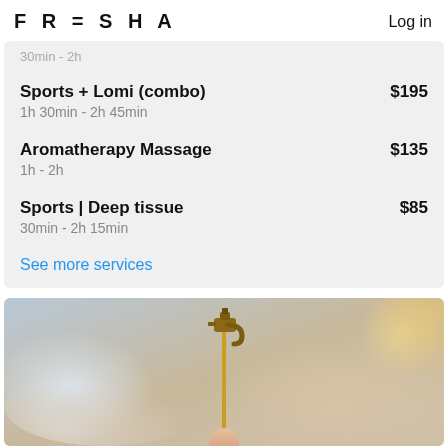FRESHA  Log in
30min - 2h
Sports + Lomi (combo)  $195
1h 30min - 2h 45min
Aromatherapy Massage  $135
1h - 2h
Sports | Deep tissue  $85
30min - 2h 15min
See more services
[Figure (photo): Close-up photo of a small antique brass tap/faucet held on a thin rod against a blurred spa/massage room background with warm beige and soft light tones]